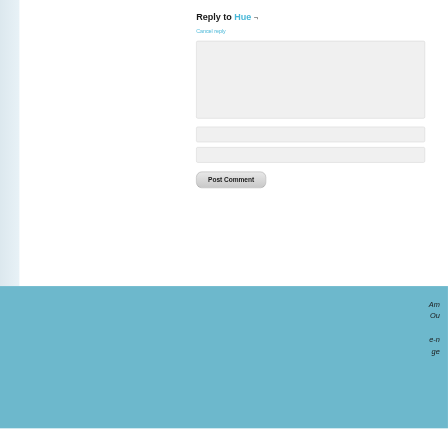Reply to Hue ¬
Cancel reply
[Figure (screenshot): Comment reply form with textarea, two input fields, and a Post Comment button]
Am
Ou

e-n
ge